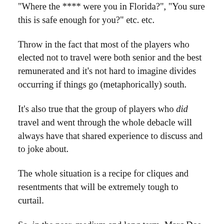“Where the **** were you in Florida?”, “You sure this is safe enough for you?” etc. etc.
Throw in the fact that most of the players who elected not to travel were both senior and the best remunerated and it’s not hard to imagine divides occurring if things go (metaphorically) south.
It’s also true that the group of players who did travel and went through the whole debacle will always have that shared experience to discuss and to joke about.
The whole situation is a recipe for cliques and resentments that will be extremely tough to curtail.
So, in the near, medium and long term, Marc Dos Santos needs to get his ideas across more effectively, organize the team more efficiently and develop an